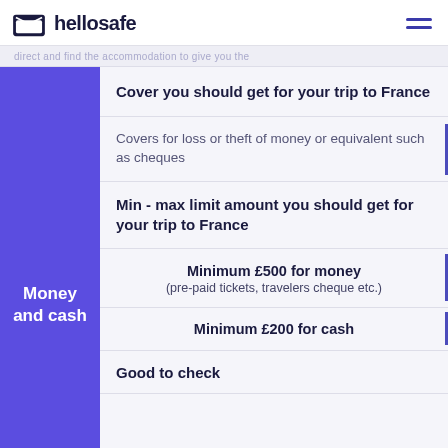hellosafe
Cover you should get for your trip to France
Covers for loss or theft of money or equivalent such as cheques
Min - max limit amount you should get for your trip to France
Money and cash
Minimum £500 for money (pre-paid tickets, travelers cheque etc.)
Minimum £200 for cash
Good to check